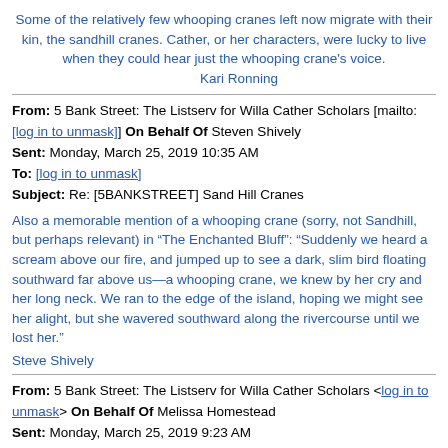Some of the relatively few whooping cranes left now migrate with their kin, the sandhill cranes. Cather, or her characters, were lucky to live when they could hear just the whooping crane's voice.
        Kari Ronning
From: 5 Bank Street: The Listserv for Willa Cather Scholars [mailto:[log in to unmask]] On Behalf Of Steven Shively
Sent: Monday, March 25, 2019 10:35 AM
To: [log in to unmask]
Subject: Re: [5BANKSTREET] Sand Hill Cranes
Also a memorable mention of a whooping crane (sorry, not Sandhill, but perhaps relevant) in “The Enchanted Bluff”: “Suddenly we heard a scream above our fire, and jumped up to see a dark, slim bird floating southward far above us—a whooping crane, we knew by her cry and her long neck. We ran to the edge of the island, hoping we might see her alight, but she wavered southward along the rivercourse until we lost her.”
Steve Shively
From: 5 Bank Street: The Listserv for Willa Cather Scholars <[log in to unmask]> On Behalf Of Melissa Homestead
Sent: Monday, March 25, 2019 9:23 AM
To: [log in to unmask]
Subject: Re: [5BANKSTREET] Sand Hill Cranes